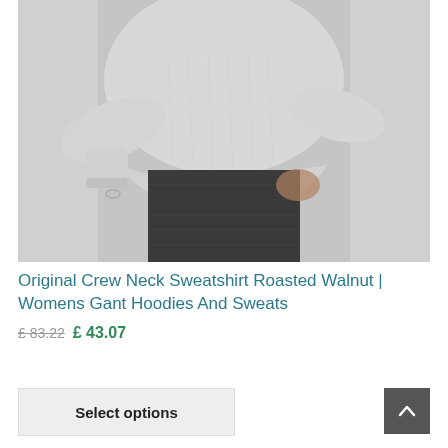[Figure (photo): A woman wearing a light grey crew neck sweatshirt and dark charcoal/black jeans, with her hand in her pocket. Cropped at the torso level, no face visible. Plain light grey background.]
Original Crew Neck Sweatshirt Roasted Walnut | Womens Gant Hoodies And Sweats
£ 83.22  £ 43.07
Select options